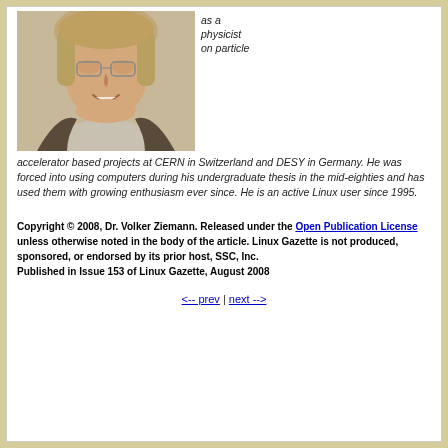as a physicist on particle
[Figure (photo): Headshot photo of Dr. Volker Ziemann, a middle-aged man with glasses and gray-blonde hair, smiling, wearing a dark jacket over a light plaid shirt.]
accelerator based projects at CERN in Switzerland and DESY in Germany. He was forced into using computers during his undergraduate thesis in the mid-eighties and has used them with growing enthusiasm ever since. He is an active Linux user since 1995.
Copyright © 2008, Dr. Volker Ziemann. Released under the Open Publication License unless otherwise noted in the body of the article. Linux Gazette is not produced, sponsored, or endorsed by its prior host, SSC, Inc.
Published in Issue 153 of Linux Gazette, August 2008
<-- prev | next -->